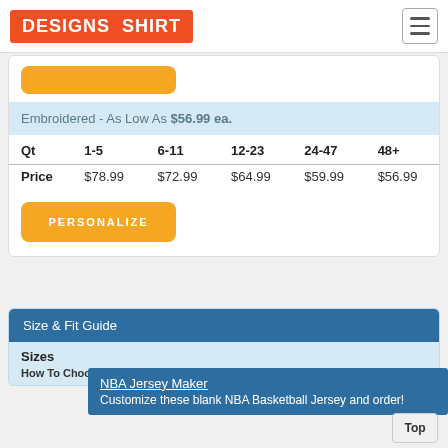DESIGNS SHIRT
Embroidered - As Low As $56.99 ea.
| Qt | 1-5 | 6-11 | 12-23 | 24-47 | 48+ |
| --- | --- | --- | --- | --- | --- |
| Price | $78.99 | $72.99 | $64.99 | $59.99 | $56.99 |
PERSONALIZE
Size & Fit Guide
Sizes
How To Choose Your measurement. W
NBA Jersey Maker
Customize these blank NBA Basketball Jersey and order!